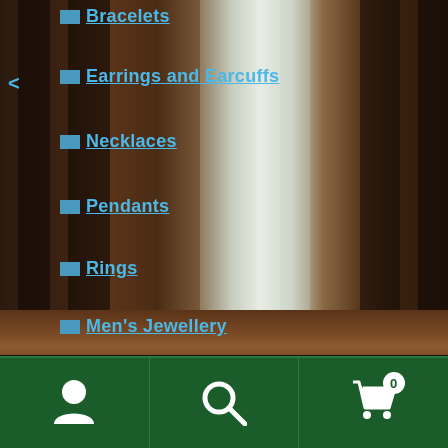[Figure (photo): Background photo of tall dark forest trees (redwoods/sequoias) with bright light visible between trunks, reddish fallen log on ground]
Bracelets
Earrings and Earcuffs
Necklaces
Pendants
Rings
Men's Jewellery
Fantasy Knives
Books
Stickers
Posters (Future Product line)
Navigation bar with person icon, search icon, and cart icon with badge 0